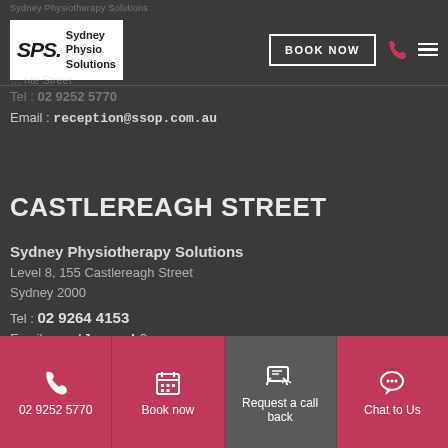Sydney Physiotherapy Solutions
Tel : 02 9252 5770
Email : reception@ssop.com.au
CASTLEREAGH STREET
Sydney Physiotherapy Solutions
Level 8, 155 Castlereagh Street
Sydney 2000
Tel : 02 9264 4153
Email : castlereagh@ssop.com.au
02 9252 5770
Book now
Request a call back
Chat to Us